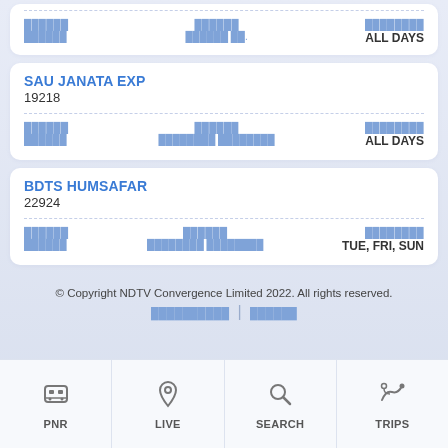(partial card) Source label, Destination label, Days: ALL DAYS
SAU JANATA EXP
19218
Source: [Hindi], Destination: [Hindi], Days: ALL DAYS
BDTS HUMSAFAR
22924
Source: [Hindi], Destination: [Hindi], Days: TUE, FRI, SUN
© Copyright NDTV Convergence Limited 2022. All rights reserved.
[Hindi links]
PNR | LIVE | SEARCH | TRIPS